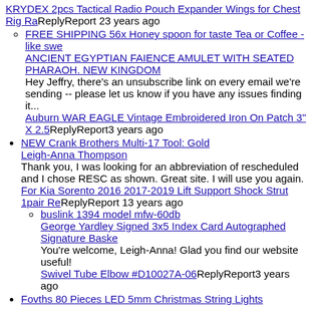KRYDEX 2pcs Tactical Radio Pouch Expander Wings for Chest Rig Ra ReplyReport 23 years ago
FREE SHIPPING 56x Honey spoon for taste Tea or Coffee - like swe ANCIENT EGYPTIAN FAIENCE AMULET WITH SEATED PHARAOH. NEW KINGDOM Hey Jeffry, there's an unsubscribe link on every email we're sending -- please let us know if you have any issues finding it... Auburn WAR EAGLE Vintage Embroidered Iron On Patch 3" X 2.5 ReplyReport 3 years ago
NEW Crank Brothers Multi-17 Tool: Gold Leigh-Anna Thompson Thank you, I was looking for an abbreviation of rescheduled and I chose RESC as shown. Great site. I will use you again. For Kia Sorento 2016 2017-2019 Lift Support Shock Strut 1pair Re ReplyReport 13 years ago
buslink 1394 model mfw-60db George Yardley Signed 3x5 Index Card Autographed Signature Baske You're welcome, Leigh-Anna! Glad you find our website useful! Swivel Tube Elbow #D10027A-06 ReplyReport 3 years ago
Fovths 80 Pieces LED 5mm Christmas String Lights